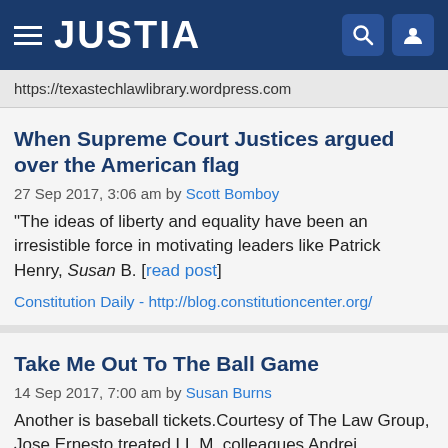JUSTIA
https://texastechlawlibrary.wordpress.com
When Supreme Court Justices argued over the American flag
27 Sep 2017, 3:06 am by Scott Bomboy
“The ideas of liberty and equality have been an irresistible force in motivating leaders like Patrick Henry, Susan B. [read post]
Constitution Daily - http://blog.constitutioncenter.org/
Take Me Out To The Ball Game
14 Sep 2017, 7:00 am by Susan Burns
Another is baseball tickets.Courtesy of The Law Group, Jose Ernesto treated LL.M. colleagues Andrei Trapizonian and Susan Burns to a Northwest Naturals game at the